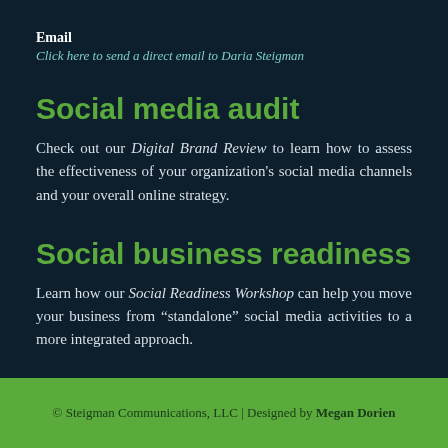Email
Click here to send a direct email to Daria Steigman
Social media audit
Check out our Digital Brand Review to learn how to assess the effectiveness of your organization's social media channels and your overall online strategy.
Social business readiness
Learn how our Social Readiness Workshop can help you move your business from “standalone” social media activities to a more integrated approach.
© Steigman Communications, LLC | Designed by Megan Dorien